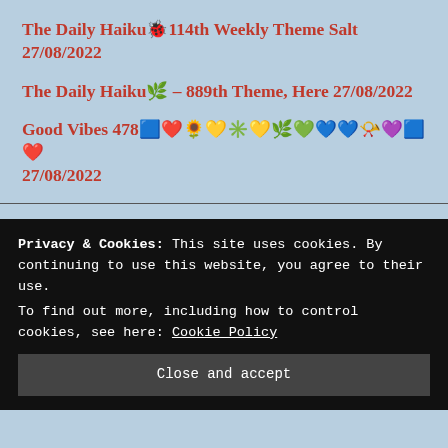The Daily Haiku🐞114th Weekly Theme Salt 27/08/2022
The Daily Haiku🌿 – 889th Theme, Here 27/08/2022
Good Vibes 478🟦❤️🌻💛✳️💛🌿💚💙💙📯💜🟦❤️ 27/08/2022
Privacy & Cookies: This site uses cookies. By continuing to use this website, you agree to their use. To find out more, including how to control cookies, see here: Cookie Policy
Close and accept